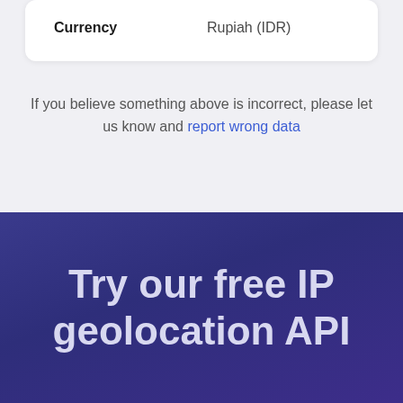|  |  |
| --- | --- |
| Currency | Rupiah (IDR) |
If you believe something above is incorrect, please let us know and report wrong data
Try our free IP geolocation API